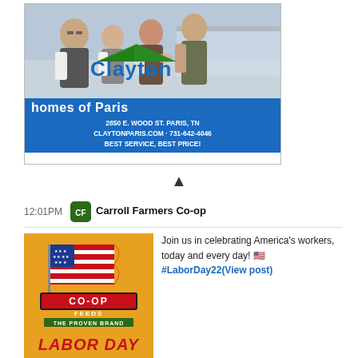[Figure (photo): Clayton Homes of Paris advertisement showing staff photo with blue background, logo, address 2850 E. Wood St. Paris, TN, website claytonparis.com, phone 731-642-4046, tagline Best Service, Best Price!]
▲
12:01PM
[Figure (logo): Carroll Farmers Co-op logo icon]
Carroll Farmers Co-op
[Figure (photo): Co-Op Feeds The Proven Brand Labor Day promotional image with American flag on golden/yellow background]
Join us in celebrating America's workers, today and every day! 🇺🇸 #LaborDay22 (View post)